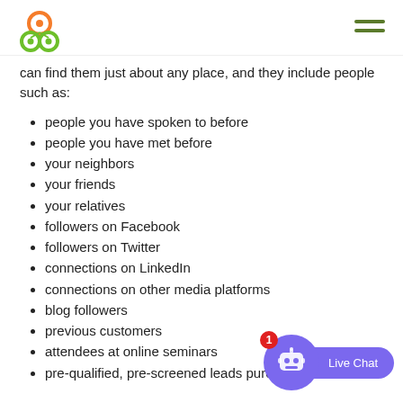[Logo and navigation]
can find them just about any place, and they include people such as:
people you have spoken to before
people you have met before
your neighbors
your friends
your relatives
followers on Facebook
followers on Twitter
connections on LinkedIn
connections on other media platforms
blog followers
previous customers
attendees at online seminars
pre-qualified, pre-screened leads purchased